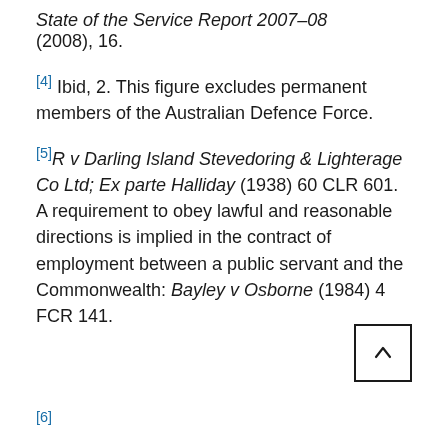State of the Service Report 2007–08 (2008), 16.
[4] Ibid, 2. This figure excludes permanent members of the Australian Defence Force.
[5] R v Darling Island Stevedoring & Lighterage Co Ltd; Ex parte Halliday (1938) 60 CLR 601. A requirement to obey lawful and reasonable directions is implied in the contract of employment between a public servant and the Commonwealth: Bayley v Osborne (1984) 4 FCR 141.
[6]